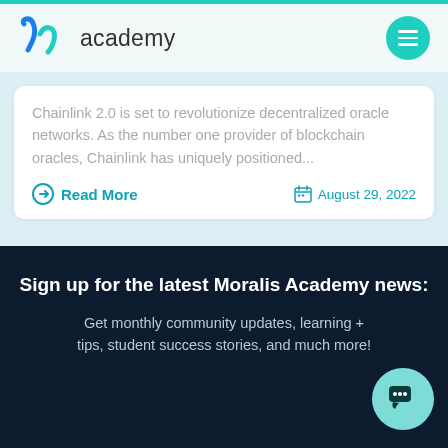academy
Chainlink 2.0 is set to revolutionize decentralized oracle networks. As the number one provider of blockchain oracles, Chainlink has uniquely positioned...
Read More
August 29, 2022
Sign up for the latest Moralis Academy news:
Get monthly community updates, learning + tips, student success stories, and much more!